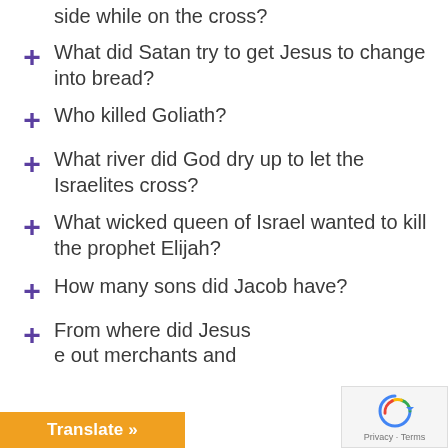side while on the cross?
What did Satan try to get Jesus to change into bread?
Who killed Goliath?
What river did God dry up to let the Israelites cross?
What wicked queen of Israel wanted to kill the prophet Elijah?
How many sons did Jacob have?
From where did Jesus [drive] out merchants and